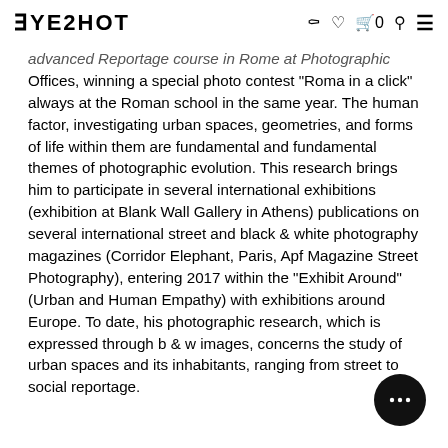EYESHOT
advanced Reportage course in Rome at Photographic Offices, winning a special photo contest “Roma in a click” always at the Roman school in the same year. The human factor, investigating urban spaces, geometries, and forms of life within them are fundamental and fundamental themes of photographic evolution. This research brings him to participate in several international exhibitions (exhibition at Blank Wall Gallery in Athens) publications on several international street and black & white photography magazines (Corridor Elephant, Paris, Apf Magazine Street Photography), entering 2017 within the “Exhibit Around” (Urban and Human Empathy) with exhibitions around Europe. To date, his photographic research, which is expressed through b & w images, concerns the study of urban spaces and its inhabitants, ranging from street to social reportage.